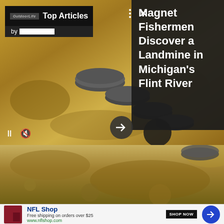[Figure (screenshot): Top Articles card showing landmine image with 'Magnet Fishermen Discover a Landmine in Michigan's Flint River' headline on dark panel, with Outdoor Life logo and Top Articles bar]
Magnet Fishermen Discover a Landmine in Michigan's Flint River
[Figure (photo): Close-up photo of landmines/mines dug up from sandy/dirt ground]
[Figure (photo): Two men sitting outdoors posing for photo]
Outdoor writer
[Figure (other): NFL Shop advertisement: Free shipping on orders over $25, www.nflshop.com, SHOP NOW button]